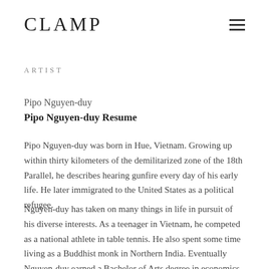CLAMP
ARTIST
Pipo Nguyen-duy
Pipo Nguyen-duy Resume
Pipo Nguyen-duy was born in Hue, Vietnam. Growing up within thirty kilometers of the demilitarized zone of the 18th Parallel, he describes hearing gunfire every day of his early life. He later immigrated to the United States as a political refugee.
Nguyen-duy has taken on many things in life in pursuit of his diverse interests. As a teenager in Vietnam, he competed as a national athlete in table tennis. He also spent some time living as a Buddhist monk in Northern India. Eventually Nguyen-duy earned a Bachelor of Arts degree in economics at Carleton